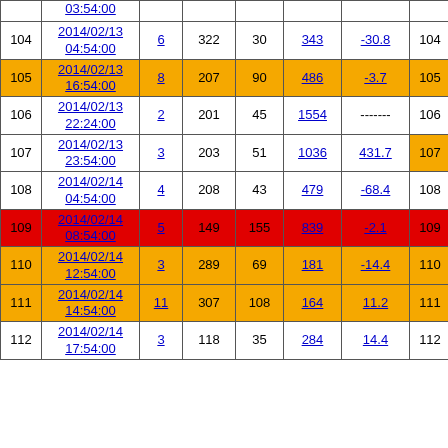| # | Date/Time | Col3 | Col4 | Col5 | Col6 | Col7 | #2 |
| --- | --- | --- | --- | --- | --- | --- | --- |
|  | 03:54:00 |  |  |  |  |  |  |
| 104 | 2014/02/13 04:54:00 | 6 | 322 | 30 | 343 | -30.8 | 104 |
| 105 | 2014/02/13 16:54:00 | 8 | 207 | 90 | 486 | -3.7 | 105 |
| 106 | 2014/02/13 22:24:00 | 2 | 201 | 45 | 1554 | ------- | 106 |
| 107 | 2014/02/13 23:54:00 | 3 | 203 | 51 | 1036 | 431.7 | 107 |
| 108 | 2014/02/14 04:54:00 | 4 | 208 | 43 | 479 | -68.4 | 108 |
| 109 | 2014/02/14 08:54:00 | 5 | 149 | 155 | 839 | -2.1 | 109 |
| 110 | 2014/02/14 12:54:00 | 3 | 289 | 69 | 181 | -14.4 | 110 |
| 111 | 2014/02/14 14:54:00 | 11 | 307 | 108 | 164 | 11.2 | 111 |
| 112 | 2014/02/14 17:54:00 | 3 | 118 | 35 | 284 | 14.4 | 112 |